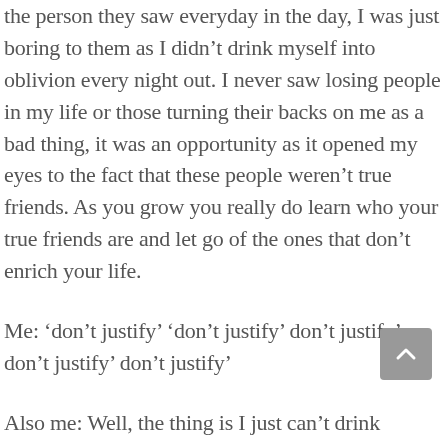the person they saw everyday in the day, I was just boring to them as I didn't drink myself into oblivion every night out. I never saw losing people in my life or those turning their backs on me as a bad thing, it was an opportunity as it opened my eyes to the fact that these people weren't true friends. As you grow you really do learn who your true friends are and let go of the ones that don't enrich your life.
Me: 'don't justify' 'don't justify' don't justify' don't justify' don't justify'
Also me: Well, the thing is I just can't drink because